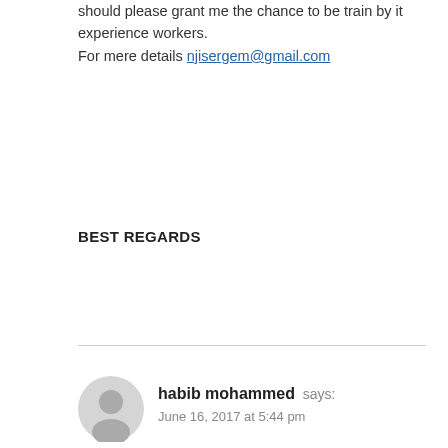should please grant me the chance to be train by it experience workers.
For mere details njisergem@gmail.com
BEST REGARDS
habib mohammed says:
June 16, 2017 at 5:44 pm
i am much happy to expected me your firm . thanks
Jesuit Ofosu-hene says: